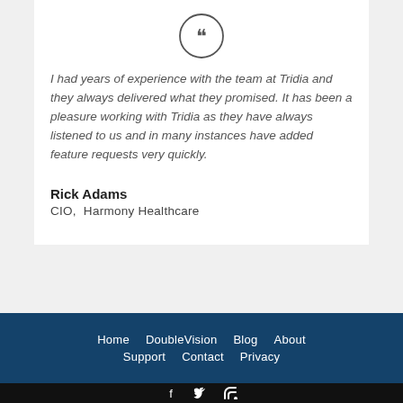[Figure (illustration): Circular quote/speech icon with double closing quotation mark inside a circle outline]
I had years of experience with the team at Tridia and they always delivered what they promised. It has been a pleasure working with Tridia as they have always listened to us and in many instances have added feature requests very quickly.
Rick Adams
CIO,  Harmony Healthcare
Home   DoubleVision   Blog   About   Support   Contact   Privacy
f  twitter  rss